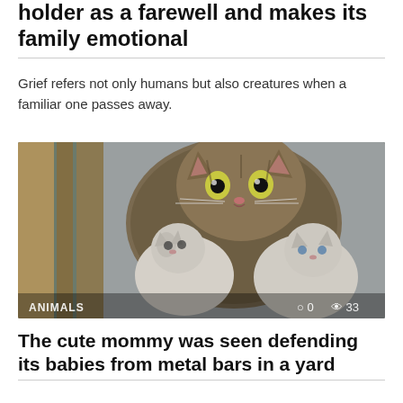holder as a farewell and makes its family emotional
Grief refers not only humans but also creatures when a familiar one passes away.
[Figure (photo): A tabby mother cat with wide eyes peering through wooden slats, with two small white/grey kittens huddled beneath her. Overlay text shows category 'ANIMALS' at bottom left and stats '0' and '33' at bottom right.]
The cute mommy was seen defending its babies from metal bars in a yard
One day a group of volunteers form NYC rushed to save a mummy together
[Figure (photo): Two side-by-side photos of orange/ginger cats, partially visible at the bottom of the page.]